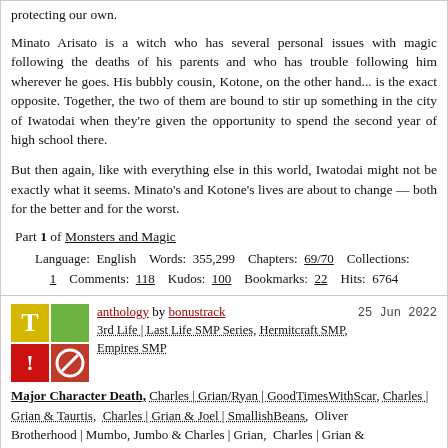magic cities, hidden away in the shadows for their own protection... and protecting our own.
Minato Arisato is a witch who has several personal issues with magic following the deaths of his parents and who has trouble following him wherever he goes. His bubbly cousin, Kotone, on the other hand... is the exact opposite. Together, the two of them are bound to stir up something in the city of Iwatodai when they're given the opportunity to spend the second year of high school there.
But then again, like with everything else in this world, Iwatodai might not be exactly what it seems. Minato's and Kotone's lives are about to change — both for the better and for the worst.
Part 1 of Monsters and Magic
Language: English  Words: 355,299  Chapters: 69/70  Collections: 1  Comments: 118  Kudos: 100  Bookmarks: 22  Hits: 6764
anthology by bonustrack  25 Jun 2022
3rd Life | Last Life SMP Series, Hermitcraft SMP, Empires SMP
Major Character Death, Charles | Grian/Ryan | GoodTimesWithScar, Charles | Grian & Taurtis, Charles | Grian & Joel | SmallishBeans, Oliver Brotherhood | Mumbo, Jumbo & Charles | Grian, Charles | Grian &